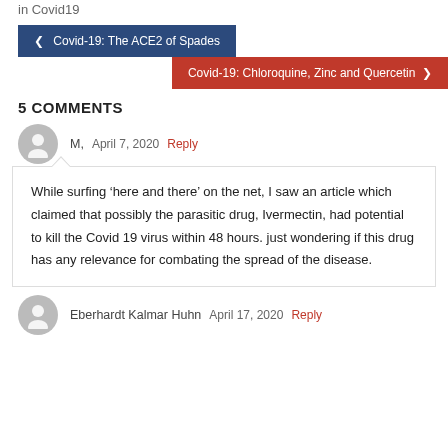in  Covid19
< Covid-19: The ACE2 of Spades
Covid-19: Chloroquine, Zinc and Quercetin >
5 COMMENTS
M,   April 7, 2020   Reply
While surfing ‘here and there’ on the net, I saw an article which claimed that possibly the parasitic drug, Ivermectin, had potential to kill the Covid 19 virus within 48 hours. just wondering if this drug has any relevance for combating the spread of the disease.
Eberhardt Kalmar Huhn   April 17, 2020   Reply